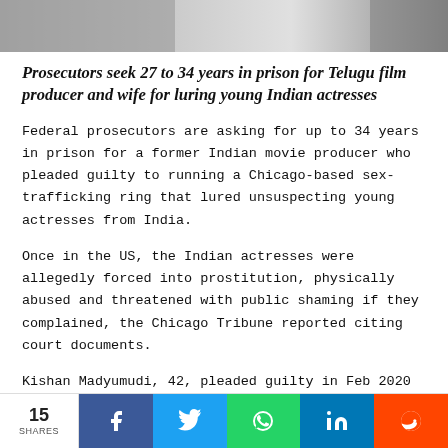[Figure (photo): Partial grayscale photo at top of page, cropped — shows blurred figures in black and white]
Prosecutors seek 27 to 34 years in prison for Telugu film producer and wife for luring young Indian actresses
Federal prosecutors are asking for up to 34 years in prison for a former Indian movie producer who pleaded guilty to running a Chicago-based sex-trafficking ring that lured unsuspecting young actresses from India.
Once in the US, the Indian actresses were allegedly forced into prostitution, physically abused and threatened with public shaming if they complained, the Chicago Tribune reported citing court documents.
Kishan Madyumudi, 42, pleaded guilty in Feb 2020 to a
15 SHARES  [Facebook] [Twitter] [WhatsApp] [LinkedIn] [Reddit]